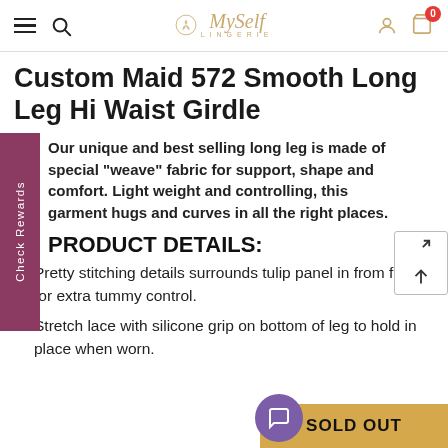MySelf LINGERIE — navigation bar with hamburger, search, logo, user, cart (0)
Custom Maid 572 Smooth Long Leg Hi Waist Girdle
Our unique and best selling long leg is made of special “weave” fabric for support, shape and comfort. Light weight and controlling, this garment hugs and curves in all the right places.
PRODUCT DETAILS:
Pretty stitching details surrounds tulip panel in from front for extra tummy control.
Stretch lace with silicone grip on bottom of leg to hold in place when worn.